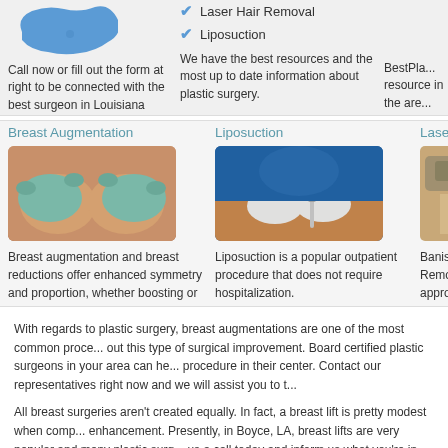[Figure (map): Blue silhouette map of Louisiana]
Laser Hair Removal
Liposuction
Call now or fill out the form at right to be connected with the best surgeon in Louisiana
We have the best resources and the most up to date information about plastic surgery.
BestPlas... resources... in the are...
Breast Augmentation
Liposuction
Laser H...
[Figure (photo): Close-up of surgeon's gloved hands on breast augmentation patient]
[Figure (photo): Surgeon performing liposuction procedure with gloved hands]
[Figure (photo): Laser hair removal device on skin, partially visible]
Breast augmentation and breast reductions offer enhanced symmetry and proportion, whether boosting or shrinking the bustline.
Liposuction is a popular outpatient procedure that does not require hospitalization.
Banish u... Remova... appropri...
With regards to plastic surgery, breast augmentations are one of the most common proce... out this type of surgical improvement. Board certified plastic surgeons in your area can he... procedure in their center. Contact our representatives right now and we will assist you to t...
All breast surgeries aren't created equally. In fact, a breast lift is pretty modest when comp... enhancement. Presently, in Boyce, LA, breast lifts are very popular and many plastic surg... us a call today and inform us what you're in search of. We'll assist you in finding the right...
B...